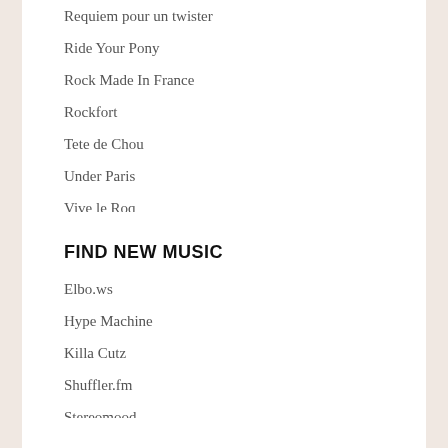Requiem pour un twister
Ride Your Pony
Rock Made In France
Rockfort
Tete de Chou
Under Paris
Vive le Roq
FIND NEW MUSIC
Elbo.ws
Hype Machine
Killa Cutz
Shuffler.fm
Stereomood